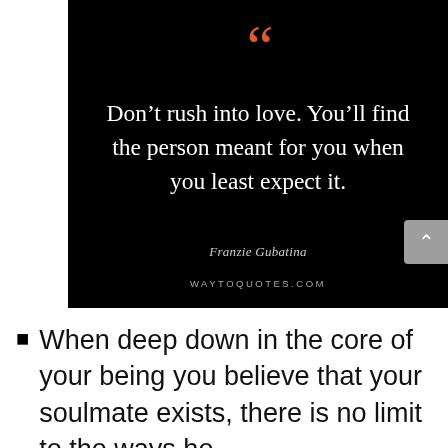[Figure (illustration): Black background quote card with orange quotation marks at top, white quote text in the center, author name and website at the bottom]
Don’t rush into love. You’ll find the person meant for you when you least expect it.
Franzie Gubatina
WAYTOQUOTES.COM
When deep down in the core of your being you believe that your soulmate exists, there is no limit to the ways he